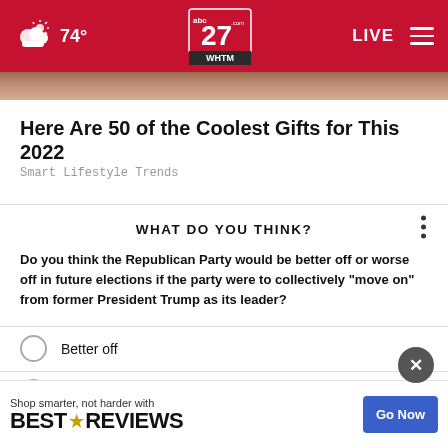74° abc27.com WHTM LIVE
[Figure (screenshot): Top portion of a hand holding something, used as article thumbnail image strip]
Here Are 50 of the Coolest Gifts for This 2022
Smart Lifestyle Trends
WHAT DO YOU THINK?
Do you think the Republican Party would be better off or worse off in future elections if the party were to collectively "move on" from former President Trump as its leader?
Better off
Worse off
It wouldn't make a difference
Shop smarter, not harder with BESTREVIEWS Go Now